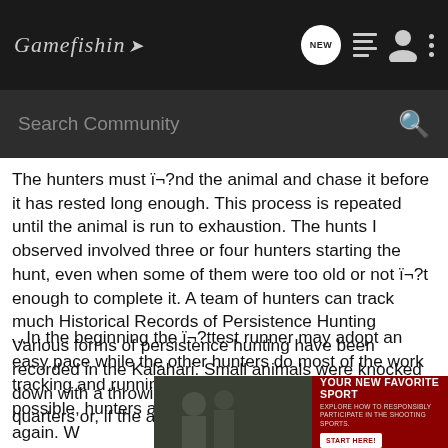Gamefishin NEW
Search Community
The hunters must ï¬?nd the animal and chase it before it has rested long enough. This process is repeated until the animal is run to exhaustion. The hunts I observed involved three or four hunters starting the hunt, even when some of them were too old or not ï¬?t enough to complete it. A team of hunters can track much Historical Records of Persistence Hunting Various forms of persistence hunting have been recorded in the Kalahari. Small animals were knocked down with a throwing club and ï¬?nished off at close quarters or, if the animal took off, run down...
...In the beginning the ï¬?ttest runner may adopt an easy pace while the other hunters do most of the work tracking and running. While tracking as fast as possible, hunters are often slowed ... nd it again. W... st pace hi...
[Figure (photo): Advertisement banner: YOUR NEW FAVORITE SPORT - EXPLORE HOW TO RESPONSIBLY PARTICIPATE IN THE SHOOTING SPORTS. START HERE! with a photo of people on the left side.]